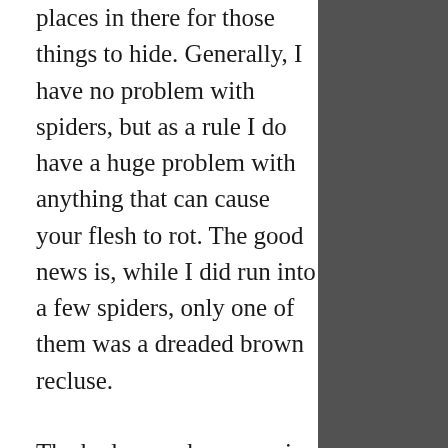places in there for those things to hide. Generally, I have no problem with spiders, but as a rule I do have a huge problem with anything that can cause your flesh to rot. The good news is, while I did run into a few spiders, only one of them was a dreaded brown recluse.
The bad news, however, is that I discovered that one of the cats (or maybe both, but I suspect it was probably just Nibblet) peed all over both my yarn stash and my sewing fabric. So that’s going to be fun, cleaning up, isn’t it all of that